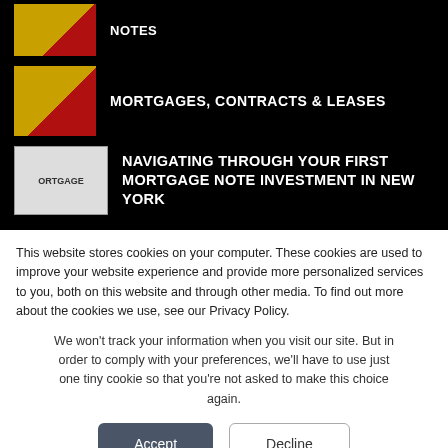NOTES
MORTGAGES, CONTRACTS & LEASES
NAVIGATING THROUGH YOUR FIRST MORTGAGE NOTE INVESTMENT IN NEW YORK
This website stores cookies on your computer. These cookies are used to improve your website experience and provide more personalized services to you, both on this website and through other media. To find out more about the cookies we use, see our Privacy Policy.
We won't track your information when you visit our site. But in order to comply with your preferences, we'll have to use just one tiny cookie so that you're not asked to make this choice again.